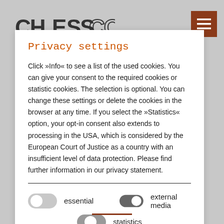[Figure (logo): ChessCon logo text in bold black letters]
[Figure (other): Dark red hamburger menu button in top right corner]
Privacy settings
Click »Info« to see a list of the used cookies. You can give your consent to the required cookies or statistic cookies. The selection is optional. You can change these settings or delete the cookies in the browser at any time. If you select the »Statistics« option, your opt-in consent also extends to processing in the USA, which is considered by the European Court of Justice as a country with an insufficient level of data protection. Please find further information in our privacy statement.
essential   external media   statistics